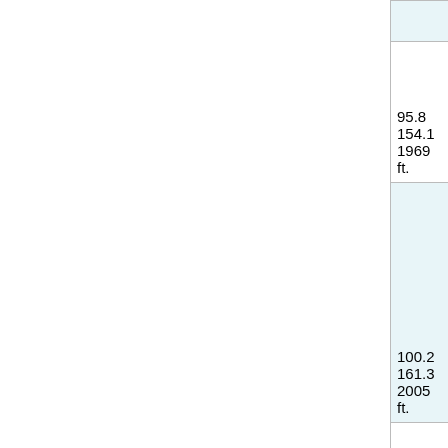| Miles / km / elev | Description |
| --- | --- |
|  |  |
| 95.8
154.1
1969 ft. | Broadway: Cheyenne, C |
| 100.2
161.3
2005 ft. | Junction : C Hwy #33 |
| 105.7
170.1
2093 ft. | Access : Bla Kettle Recr Area |